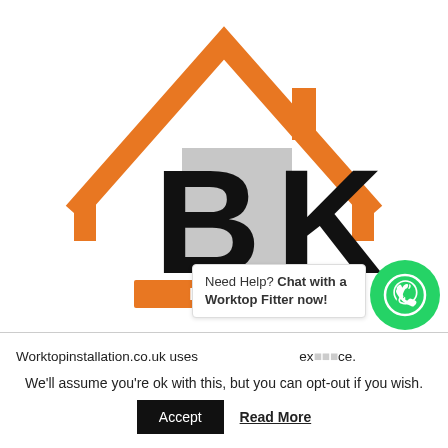[Figure (logo): BK Direct logo — orange house roofline outline with bold black letter B and black letter K inside, grey square behind B, orange rectangle banner reading DIRECT below, text '-By Worktops & Flooring UK LTD-' beneath banner]
Need Help? Chat with a Worktop Fitter now!
Worktopinstallation.co.uk uses ex...ce.
We'll assume you're ok with this, but you can opt-out if you wish.
Accept
Read More